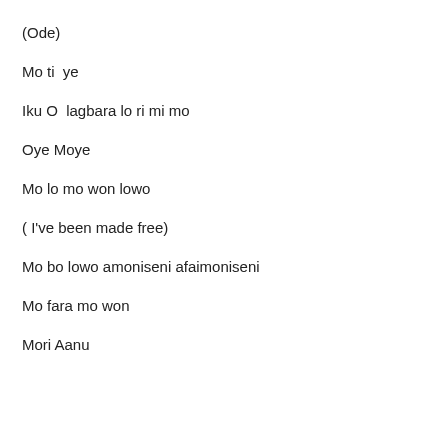(Ode)
Mo ti  ye
Iku O  lagbara lo ri mi mo
Oye Moye
Mo lo mo won lowo
( I've been made free)
Mo bo lowo amoniseni afaimoniseni
Mo fara mo won
Mori Aanu